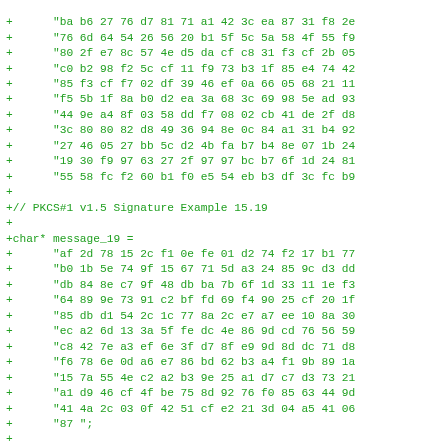Code diff showing PKCS#1 v1.5 Signature Example 15.19 with message_19 and signature_19 hex data arrays in C string format